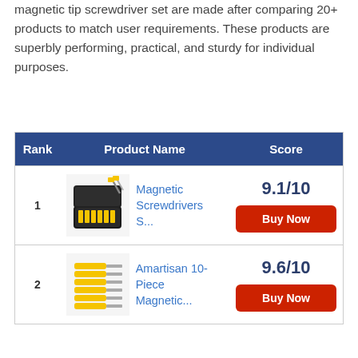magnetic tip screwdriver set are made after comparing 20+ products to match user requirements. These products are superbly performing, practical, and sturdy for individual purposes.
| Rank | Product Name | Score |
| --- | --- | --- |
| 1 | Magnetic Screwdrivers S... | 9.1/10 |
| 2 | Amartisan 10-Piece Magnetic... | 9.6/10 |